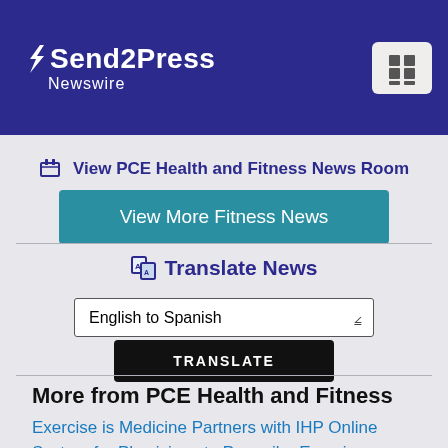[Figure (logo): Send2Press Newswire logo on dark blue/indigo header bar with hamburger/grid menu button on the right]
View PCE Health and Fitness News Room
View More Fitness News
Translate News
English to Spanish
TRANSLATE
More from PCE Health and Fitness
Exercise is Medicine Partners with IHP Online System for Physicians to Prescribe Exercise